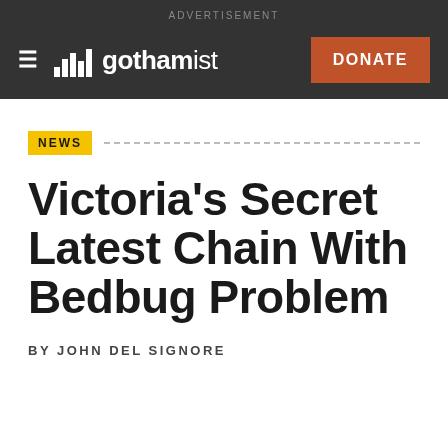ADVERTISEMENT
[Figure (logo): Gothamist logo with hamburger menu and DONATE button on dark header bar]
NEWS
Victoria's Secret Latest Chain With Bedbug Problem
BY JOHN DEL SIGNORE